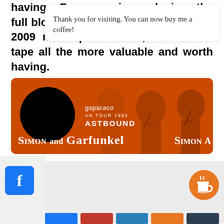having a Faces reunion and, since the full blow reunion that was expected in 2009 never panned out, makes this tape all the more valuable and worth having.
[Figure (photo): Orange-tinted concert photo showing Simon and Garfunkel performers. A black circle overlays the left side. Text reads 'gsparaco', 'AN TOUR 1982', 'ASTBOUND', 'SIMON AND GARFUNKEL', 'SIMON A' on right.]
Thank you for visiting. You can now buy me a coffee!